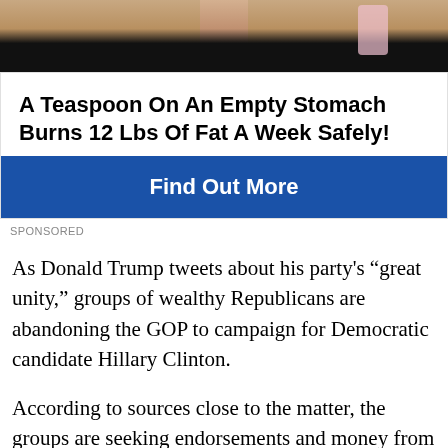[Figure (photo): Advertisement banner showing torsos of people, used as header image for a weight loss ad]
A Teaspoon On An Empty Stomach Burns 12 Lbs Of Fat A Week Safely!
Find Out More
SPONSORED
As Donald Trump tweets about his party's “great unity,” groups of wealthy Republicans are abandoning the GOP to campaign for Democratic candidate Hillary Clinton.
According to sources close to the matter, the groups are seeking endorsements and money from other disillusioned Republicans. Many of these members have received support and encouragement from